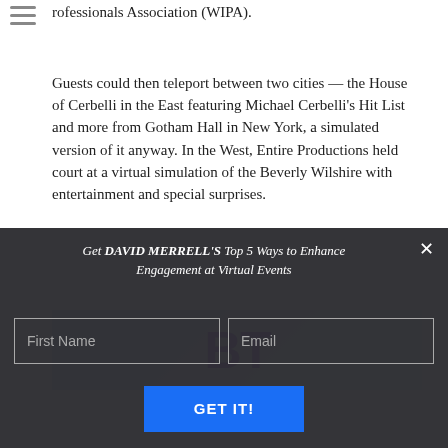rofessionals Association (WIPA).
Guests could then teleport between two cities — the House of Cerbelli in the East featuring Michael Cerbelli's Hit List and more from Gotham Hall in New York, a simulated version of it anyway. In the West, Entire Productions held court at a virtual simulation of the Beverly Wilshire with entertainment and special surprises.
[Figure (photo): Partial image showing large purple letters, likely initials or acronym, against a blurred light blue/grey background.]
Get DAVID MERRELL'S Top 5 Ways to Enhance Engagement at Virtual Events
First Name | Email
GET IT!